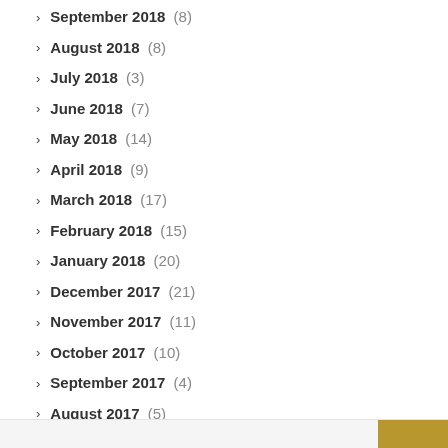September 2018 (8)
August 2018 (8)
July 2018 (3)
June 2018 (7)
May 2018 (14)
April 2018 (9)
March 2018 (17)
February 2018 (15)
January 2018 (20)
December 2017 (21)
November 2017 (11)
October 2017 (10)
September 2017 (4)
August 2017 (5)
Follow Bear Starr